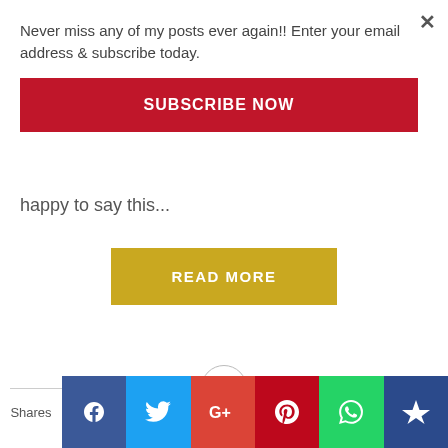Never miss any of my posts ever again!! Enter your email address & subscribe today.
SUBSCRIBE NOW
happy to say this...
READ MORE
Shares